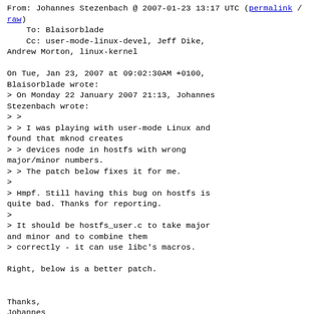From: Johannes Stezenbach @ 2007-01-23 13:17 UTC (permalink / raw)
    To: Blaisorblade
    Cc: user-mode-linux-devel, Jeff Dike, Andrew Morton, linux-kernel

On Tue, Jan 23, 2007 at 09:02:30AM +0100, Blaisorblade wrote:
> On Monday 22 January 2007 21:13, Johannes Stezenbach wrote:
> >
> > I was playing with user-mode Linux and found that mknod creates
> > devices node in hostfs with wrong major/minor numbers.
> > The patch below fixes it for me.
>
> Hmpf. Still having this bug on hostfs is quite bad. Thanks for reporting.
>
> It should be hostfs_user.c to take major and minor and to combine them
> correctly - it can use libc's macros.

Right, below is a better patch.


Thanks,
Johannes